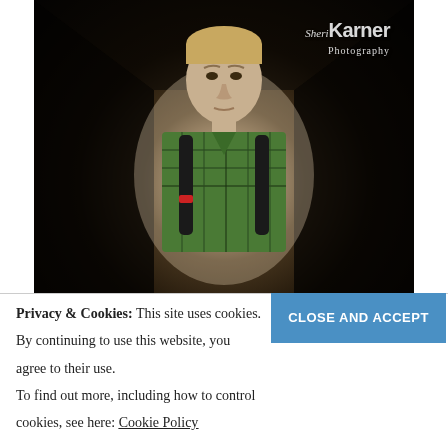[Figure (photo): Portrait photograph of a teenage boy wearing a green plaid shirt and black backpack straps, standing in what appears to be a dark tunnel with a bright spotlight behind him. Watermark reads 'Sheri Karner Photography' in top right corner.]
Privacy & Cookies: This site uses cookies. By continuing to use this website, you agree to their use.
To find out more, including how to control cookies, see here: Cookie Policy
CLOSE AND ACCEPT
A quick stop on the way back to Ryan's house after the